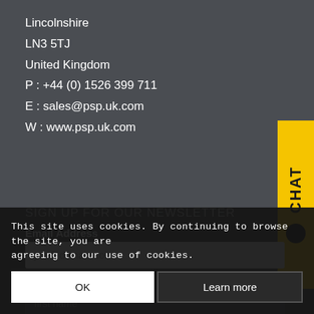Lincolnshire
LN3 5TJ
United Kingdom
P : +44 (0) 1526 399 711
E : sales@psp.uk.com
W : www.psp.uk.com
[Figure (other): Yellow vertical chat tab on right side with 'Chat' text rotated and a black circle icon]
SIGN UP FOR OUR NEWSLETTER
Email Address
you@domain.com
First Name
first name
Last Name
family name
This site uses cookies. By continuing to browse the site, you are agreeing to our use of cookies.
OK
Learn more